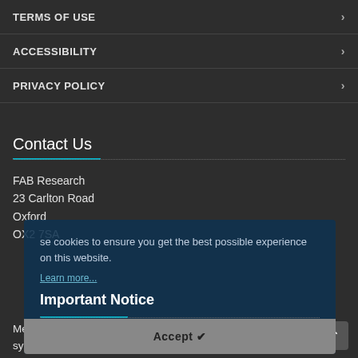TERMS OF USE
ACCESSIBILITY
PRIVACY POLICY
Contact Us
FAB Research
23 Carlton Road
Oxford
OX2 7SA
We use cookies to ensure you get the best possible experience on this website.
Learn more...
Accept ✔
Important Notice
Medical opinion and guidance should always be sought for any symptoms that might possibly reflect a known or